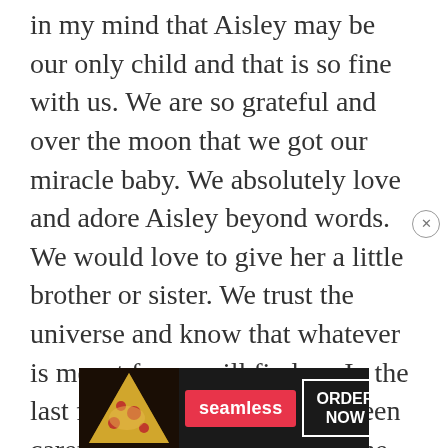in my mind that Aisley may be our only child and that is so fine with us. We are so grateful and over the moon that we got our miracle baby. We absolutely love and adore Aisley beyond words. We would love to give her a little brother or sister. We trust the universe and know that whatever is meant for us will find us. In the last few months, we haven't been careful and we were open to the possibility of falling pregnant. Of course, we wanted another baby but knew it would happen when the time was right. Before Aisley was even 10 months old, we
[Figure (infographic): Advertisement banner for Seamless food delivery app showing pizza image on left, red Seamless branded button in center, and white ORDER NOW bordered button on right, all on dark background.]